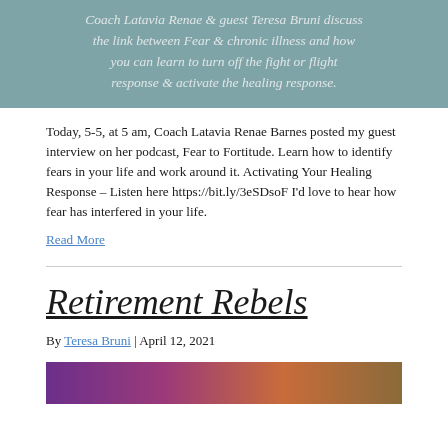[Figure (other): Muted teal/blue-grey banner with italic text: Coach Latavia Renae & guest Teresa Bruni discuss the link between Fear & chronic illness and how you can learn to turn off the fight or flight response & activate the healing response.]
Today, 5-5, at 5 am, Coach Latavia Renae Barnes posted my guest interview on her podcast, Fear to Fortitude. Learn how to identify fears in your life and work around it. Activating Your Healing Response – Listen here https://bit.ly/3eSDsoF I'd love to hear how fear has interfered in your life.
Read More
Retirement Rebels
By Teresa Bruni | April 12, 2021
[Figure (photo): Bottom strip showing a colorful image with purple and orange tones, partially visible at the bottom of the page.]